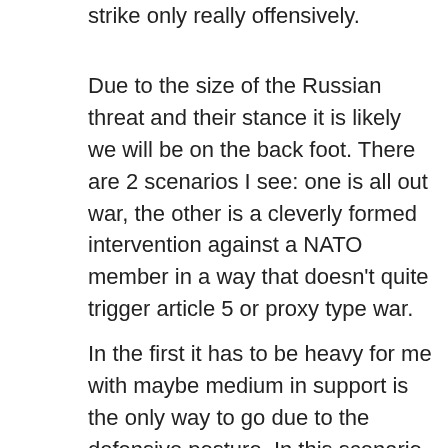strike only really offensively.
Due to the size of the Russian threat and their stance it is likely we will be on the back foot. There are 2 scenarios I see: one is all out war, the other is a cleverly formed intervention against a NATO member in a way that doesn't quite trigger article 5 or proxy type war.
In the first it has to be heavy for me with maybe medium in support is the only way to go due to the defensive posture. In this scenario the Russians would have to build up a significant force. This would give us, and the rest of NATO time to deploy. If we deployed a force similar to Gulf War 1 (which we could